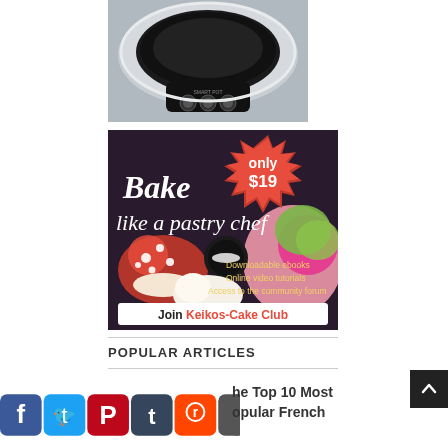[Figure (photo): Photo of a slow cooker / crock pot appliance, silver and black, top-down view showing control panel with buttons]
[Figure (infographic): Advertisement banner for Keikos-Cake Club. Red starburst badge in top right says 'only $19'. Script text reads 'Bake like a pastry chef'. Background shows colorful cupcakes and pastries. Text lists: Downloadable ebooks, Online video tutorials, Access to the community forum. White bar at bottom reads 'Join Keikos-Cake Club' with 'Keikos-Cake Club' in red.]
POPULAR ARTICLES
[Figure (infographic): Social media sharing bar with icons for Facebook (blue), Twitter (light blue), Pinterest (red), Tumblr (dark blue/grey), Reddit (orange-red), and a plus/share icon (dark grey)]
he Top 10 Most opular French